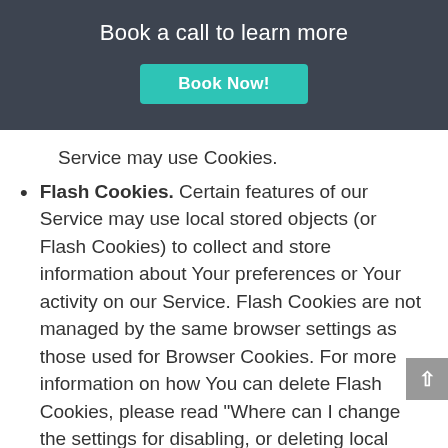Book a call to learn more
[Figure (other): Teal 'Book Now!' button on dark gray header background]
Service may use Cookies.
Flash Cookies. Certain features of our Service may use local stored objects (or Flash Cookies) to collect and store information about Your preferences or Your activity on our Service. Flash Cookies are not managed by the same browser settings as those used for Browser Cookies. For more information on how You can delete Flash Cookies, please read "Where can I change the settings for disabling, or deleting local shared objects?" available at https://helpx.adobe.com/flash-